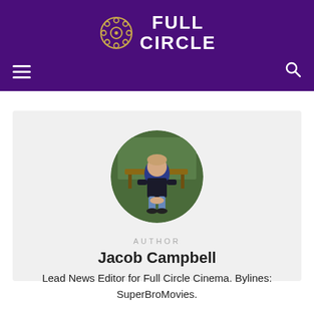[Figure (logo): Full Circle Cinema logo with film reel icon on purple background header]
[Figure (photo): Circular avatar photo of Jacob Campbell sitting on a bench outdoors, wearing a black hoodie and blue jeans with a backpack]
AUTHOR
Jacob Campbell
Lead News Editor for Full Circle Cinema. Bylines: SuperBroMovies.